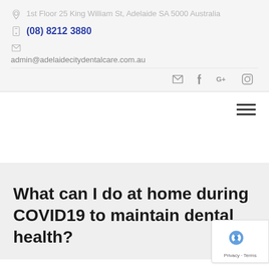1st Floor 25 King William St, Adelaide SA 5000 Australia
(08) 8212 3880
admin@adelaidecitydentalcare.com.au
[Figure (infographic): Social media icons: email, Facebook, Google+, Instagram]
[Figure (infographic): Hamburger navigation menu icon (three horizontal lines)]
What can I do at home during COVID19 to maintain dental health?